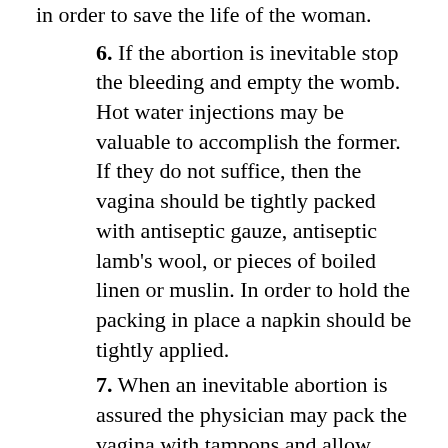in order to save the life of the woman.
6. If the abortion is inevitable stop the bleeding and empty the womb. Hot water injections may be valuable to accomplish the former. If they do not suffice, then the vagina should be tightly packed with antiseptic gauze, antiseptic lamb's wool, or pieces of boiled linen or muslin. In order to hold the packing in place a napkin should be tightly applied.
7. When an inevitable abortion is assured the physician may pack the vagina with tampons and allow them to remain for eighteen or twenty-four hours, and usually when removed the ovum